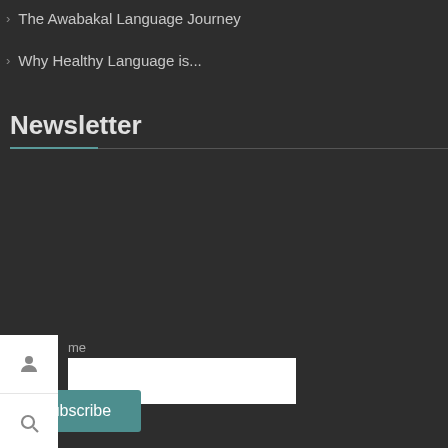> The Awabakal Language Journey
> Why Healthy Language is...
Newsletter
Name
Email
Subscribe